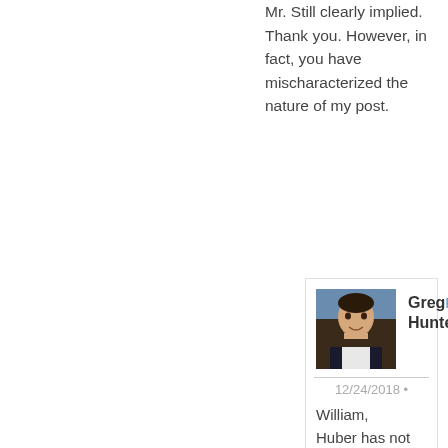Mr. Still clearly implied. Thank you. However, in fact, you have mischaracterized the nature of my post.
Greg Hunter
12/24/2018
William,
Huber has not been doing nothing. That is totally untrue and a mischaracterization of what is going on. Still talked about Uranium One and Victoria Toesing's client Dennis Campbell. This is one of many frauds and